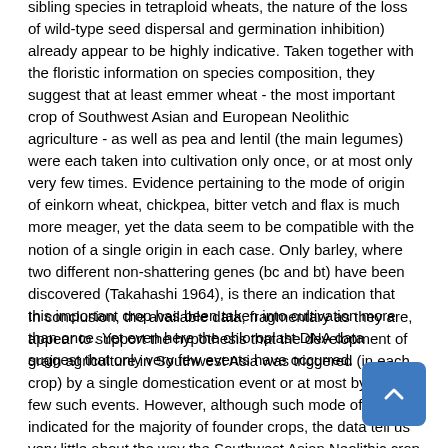sibling species in tetraploid wheats, the nature of the loss of wild-type seed dispersal and germination inhibition) already appear to be highly indicative. Taken together with the floristic information on species composition, they suggest that at least emmer wheat - the most important crop of Southwest Asian and European Neolithic agriculture - as well as pea and lentil (the main legumes) were each taken into cultivation only once, or at most only very few times. Evidence pertaining to the mode of origin of einkorn wheat, chickpea, bitter vetch and flax is much more meager, yet the data seem to be compatible with the notion of a single origin in each case. Only barley, where two different non-shattering genes (bc and bt) have been discovered (Takahashi 1964), is there an indication that this important crop has been taken into cultivation more than once. Yet even here the chloroplast DNA data suggest that only very few events have occurred.
In conclusion, the available data, fragmentary as they are, appear to support the hypothesis that the development of grain agriculture in Southwest Asia was triggered (in each crop) by a single domestication event or at most by very few such events. However, although such mode of origin is indicated for the majority of founder crops, the data tell us very little about the way the Southwest Asian Neolithic crop "package" was assembled. It